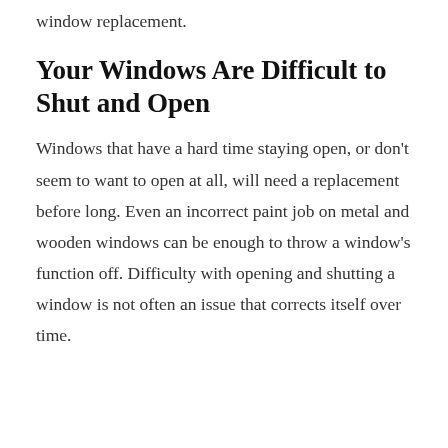≡  🔍
over time. While sealants can provide temporary fixes, the problem will ultimately worsen over time. The only real fix for this type of problem is a window replacement.
Your Windows Are Difficult to Shut and Open
Windows that have a hard time staying open, or don't seem to want to open at all, will need a replacement before long. Even an incorrect paint job on metal and wooden windows can be enough to throw a window's function off. Difficulty with opening and shutting a window is not often an issue that corrects itself over time.